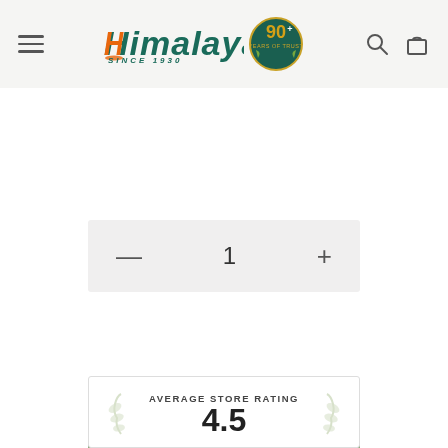[Figure (logo): Himalaya brand logo with 'SINCE 1930' text and 90+ anniversary badge, plus hamburger menu and shopping bag/search icons]
1
ADD TO CART
Add to wishlist
AVERAGE STORE RATING
4.5